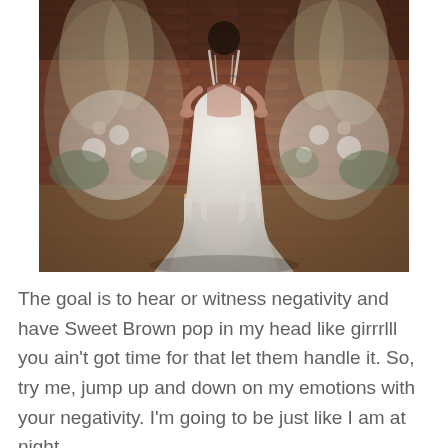[Figure (photo): A bride in a white backless lace wedding gown with a long train, standing with hands on hips facing away from the camera. She is posed in front of two large floral arrangements with pampas grass, white flowers, and greenery, set against a brick wall backdrop with candles on a wooden floor.]
The goal is to hear or witness negativity and have Sweet Brown pop in my head like girrrlll you ain't got time for that let them handle it. So, try me, jump up and down on my emotions with your negativity. I'm going to be just like I am at night